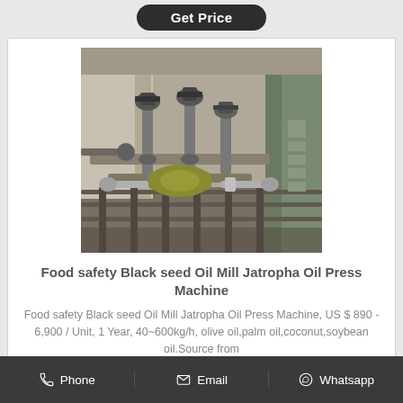Get Price
[Figure (photo): Industrial oil press machine with pipes, valves, and mechanical components in a factory setting]
Food safety Black seed Oil Mill Jatropha Oil Press Machine
Food safety Black seed Oil Mill Jatropha Oil Press Machine, US $ 890 - 6,900 / Unit, 1 Year, 40~600kg/h, olive oil,palm oil,coconut,soybean oil.Source from
Phone   Email   Whatsapp